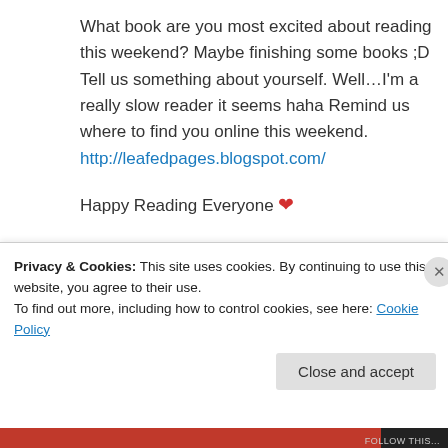What book are you most excited about reading this weekend? Maybe finishing some books ;D Tell us something about yourself. Well…I'm a really slow reader it seems haha Remind us where to find you online this weekend. http://leafedpages.blogspot.com/
Happy Reading Everyone ❤
★ Like
↪ Reply
Privacy & Cookies: This site uses cookies. By continuing to use this website, you agree to their use. To find out more, including how to control cookies, see here: Cookie Policy
Close and accept